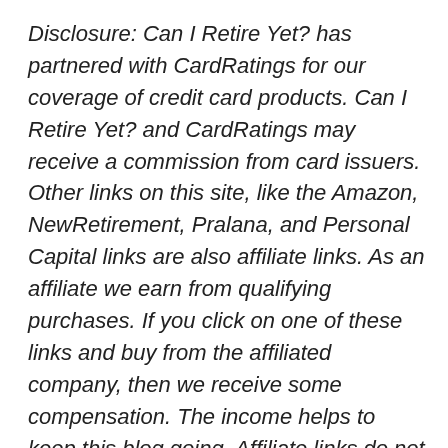Disclosure: Can I Retire Yet? has partnered with CardRatings for our coverage of credit card products. Can I Retire Yet? and CardRatings may receive a commission from card issuers. Other links on this site, like the Amazon, NewRetirement, Pralana, and Personal Capital links are also affiliate links. As an affiliate we earn from qualifying purchases. If you click on one of these links and buy from the affiliated company, then we receive some compensation. The income helps to keep this blog going. Affiliate links do not increase your cost, and we only use them for products or services that we're familiar with and that we feel may deliver value to you. By contrast, we have limited